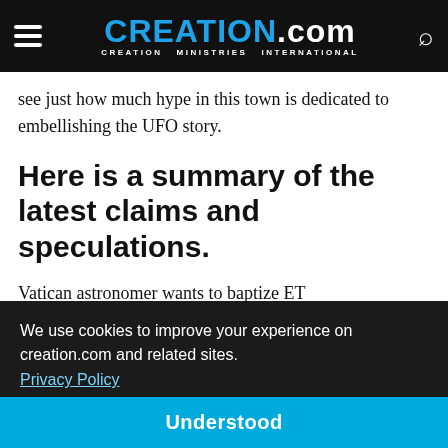CREATION.com — CREATION MINISTRIES INTERNATIONAL
see just how much hype in this town is dedicated to embellishing the UFO story.
Here is a summary of the latest claims and speculations.
Vatican astronomer wants to baptize ET
We use cookies to improve your experience on creation.com and related sites.
Privacy Policy
Understood
was actually interviewed by the Washington Post for my